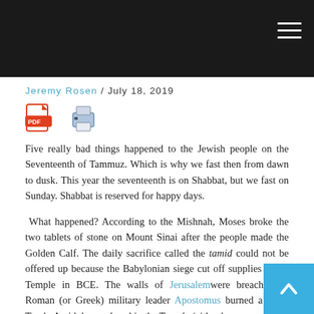Jeremy Rosen / July 18, 2019
[Figure (infographic): PDF download icon and print icon side by side]
Five really bad things happened to the Jewish people on the Seventeenth of Tammuz. Which is why we fast then from dawn to dusk. This year the seventeenth is on Shabbat, but we fast on Sunday. Shabbat is reserved for happy days.

What happened? According to the Mishnah, Moses broke the two tablets of stone on Mount Sinai after the people made the Golden Calf. The daily sacrifice called the tamid could not be offered up because the Babylonian siege cut off supplies to the Temple in BCE. The walls of Jerusalem were breached. A Roman (or Greek) military leader Apostomus burned a Sefer Torah. An idol was placed in the Temple (either by